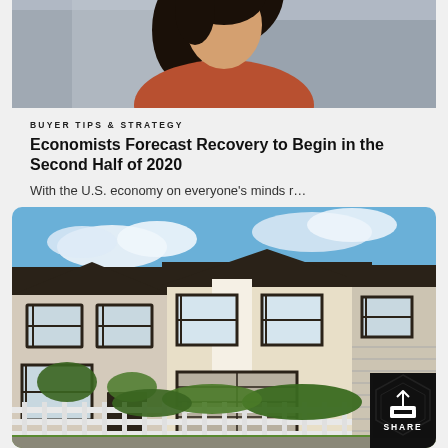[Figure (photo): Partial photo of a woman with dark hair wearing a rust/orange top, with blurred building background - top portion cropped]
BUYER TIPS & STRATEGY
Economists Forecast Recovery to Begin in the Second Half of 2020
With the U.S. economy on everyone's minds r…
[Figure (photo): Photograph of modern suburban townhouses/homes with dark trim and wood-panel accents, blue sky with clouds, white fence in foreground, green hedges]